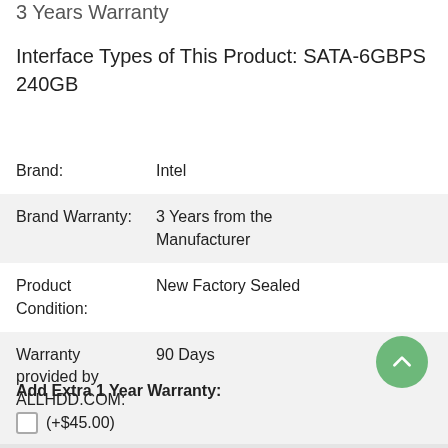3 Years Warranty
Interface Types of This Product: SATA-6GBPS 240GB
|  |  |
| --- | --- |
| Brand: | Intel |
| Brand Warranty: | 3 Years from the Manufacturer |
| Product Condition: | New Factory Sealed |
| Warranty provided by ALLHDD.COM: | 90 Days |
Add Extra 1 Year Warranty:
(+$45.00)